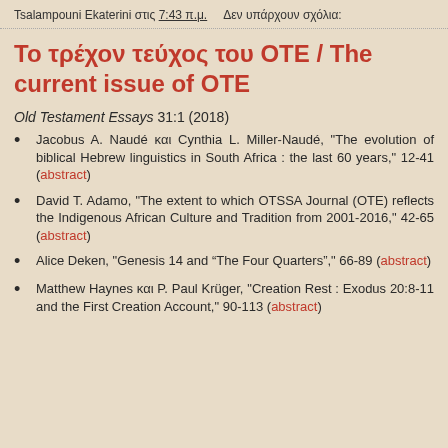Tsalampouni Ekaterini στις 7:43 π.μ.    Δεν υπάρχουν σχόλια:
Το τρέχον τεύχος του ΟΤΕ / The current issue of OTE
Old Testament Essays 31:1 (2018)
Jacobus A. Naudé και Cynthia L. Miller-Naudé, "The evolution of biblical Hebrew linguistics in South Africa : the last 60 years," 12-41 (abstract)
David T. Adamo, "The extent to which OTSSA Journal (OTE) reflects the Indigenous African Culture and Tradition from 2001-2016," 42-65 (abstract)
Alice Deken, "Genesis 14 and “The Four Quarters”," 66-89 (abstract)
Matthew Haynes και P. Paul Krüger, "Creation Rest : Exodus 20:8-11 and the First Creation Account," 90-113 (abstract)